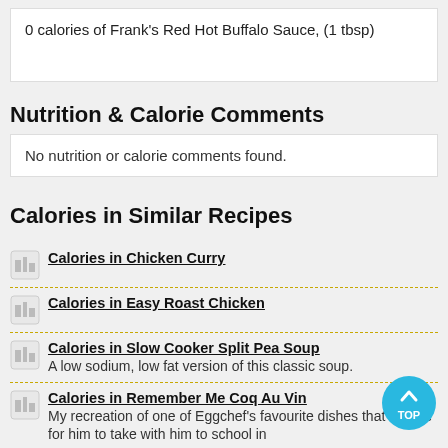0 calories of Frank's Red Hot Buffalo Sauce, (1 tbsp)
Nutrition & Calorie Comments
No nutrition or calorie comments found.
Calories in Similar Recipes
Calories in Chicken Curry
Calories in Easy Roast Chicken
Calories in Slow Cooker Split Pea Soup
A low sodium, low fat version of this classic soup.
Calories in Remember Me Coq Au Vin
My recreation of one of Eggchef's favourite dishes that I made for him to take with him to school in
Calories in Asian Marinated Chicken Quarters